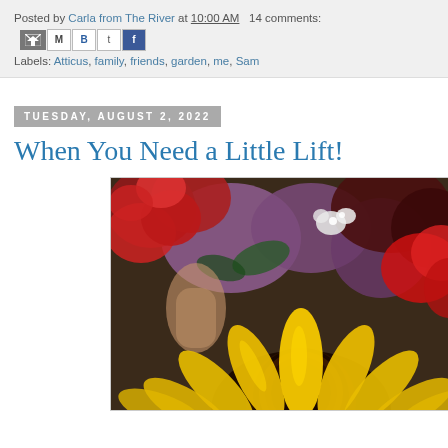Posted by Carla from The River at 10:00 AM   14 comments:
Labels: Atticus, family, friends, garden, me, Sam
TUESDAY, AUGUST 2, 2022
When You Need a Little Lift!
[Figure (photo): Close-up photograph of colorful flowers including a large yellow sunflower in the foreground and red, purple, and white flowers in the background.]